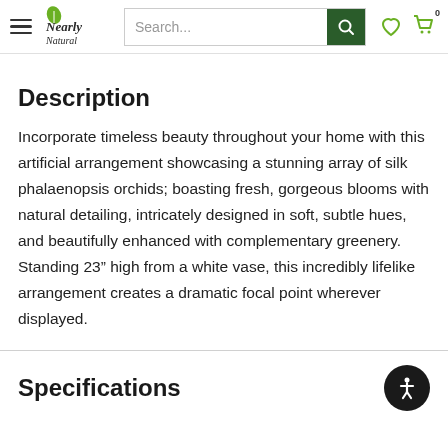Nearly Natural — Search bar, wishlist, cart navigation
Description
Incorporate timeless beauty throughout your home with this artificial arrangement showcasing a stunning array of silk phalaenopsis orchids; boasting fresh, gorgeous blooms with natural detailing, intricately designed in soft, subtle hues, and beautifully enhanced with complementary greenery. Standing 23” high from a white vase, this incredibly lifelike arrangement creates a dramatic focal point wherever displayed.
Specifications